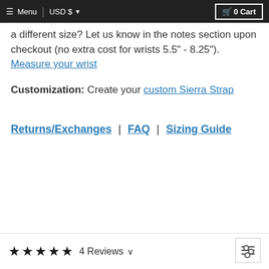Menu | USD $ ▾ | 🛒 0 Cart
a different size? Let us know in the notes section upon checkout (no extra cost for wrists 5.5" - 8.25"). Measure your wrist
Customization: Create your custom Sierra Strap
Returns/Exchanges | FAQ | Sizing Guide
★★★★★  4 Reviews ∨